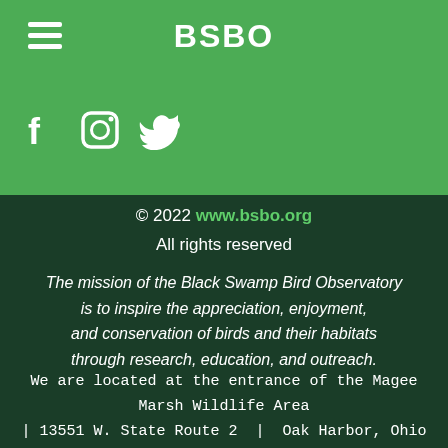BSBO
[Figure (logo): Hamburger menu icon (three horizontal white lines) and BSBO title centered in green header bar, with social media icons (Facebook, Instagram, Twitter) below]
© 2022 www.bsbo.org
All rights reserved
The mission of the Black Swamp Bird Observatory is to inspire the appreciation, enjoyment, and conservation of birds and their habitats through research, education, and outreach.
We are located at the entrance of the Magee Marsh Wildlife Area | 13551 W. State Route 2  |  Oak Harbor, Ohio 43449  |  419.898.4070  |